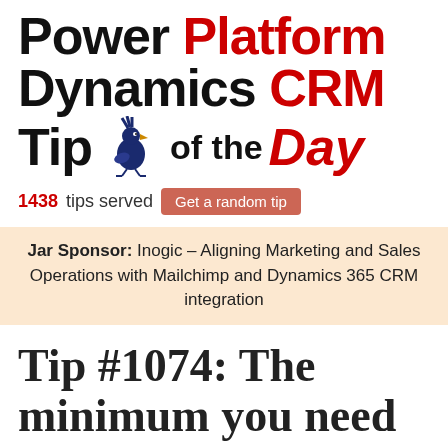Power Platform Dynamics CRM Tip of the Day
1438 tips served  Get a random tip
Jar Sponsor: Inogic – Aligning Marketing and Sales Operations with Mailchimp and Dynamics 365 CRM integration
Tip #1074: The minimum you need for